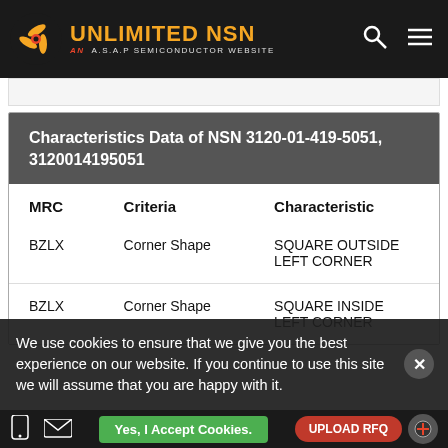UNLIMITED NSN — AN A.S.A.P SEMICONDUCTOR WEBSITE
Characteristics Data of NSN 3120-01-419-5051, 3120014195051
| MRC | Criteria | Characteristic |
| --- | --- | --- |
| BZLX | Corner Shape | SQUARE OUTSIDE LEFT CORNER |
| BZLX | Corner Shape | SQUARE INSIDE LEFT CORNER |
We use cookies to ensure that we give you the best experience on our website. If you continue to use this site we will assume that you are happy with it.